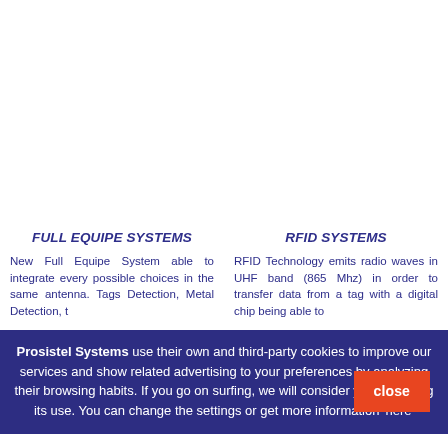FULL EQUIPE SYSTEMS
New Full Equipe System able to integrate every possible choices in the same antenna. Tags Detection, Metal Detection, t
RFID SYSTEMS
RFID Technology emits radio waves in UHF band (865 Mhz) in order to transfer data from a tag with a digital chip being able to
Prosistel Systems use their own and third-party cookies to improve our services and show related advertising to your preferences by analyzing their browsing habits. If you go on surfing, we will consider you accepting its use. You can change the settings or get more information 'here'